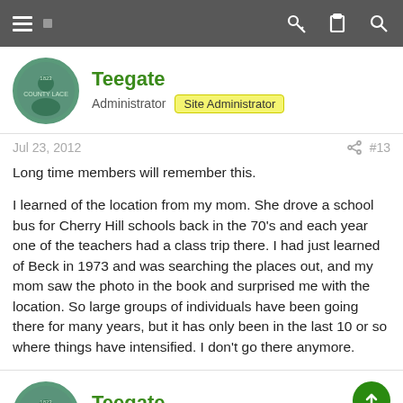Navigation bar with hamburger menu and icons
Teegate
Administrator  Site Administrator
Jul 23, 2012  #13
Long time members will remember this.

I learned of the location from my mom. She drove a school bus for Cherry Hill schools back in the 70's and each year one of the teachers had a class trip there. I had just learned of Beck in 1973 and was searching the places out, and my mom saw the photo in the book and surprised me with the location. So large groups of individuals have been going there for many years, but it has only been in the last 10 or so where things have intensified. I don't go there anymore.
Teegate
Administrator  Site Administrator